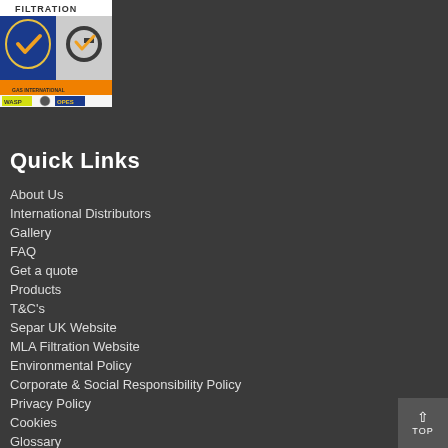[Figure (logo): MLA Filtration certification badge showing ISO 9001:2015 registered company logo with WASP and OPES certification marks]
Quick Links
About Us
International Distributors
Gallery
FAQ
Get a quote
Products
T&C's
Separ UK Website
MLA Filtration Website
Environmental Policy
Corporate & Social Responsibility Policy
Privacy Policy
Cookies
Glossary